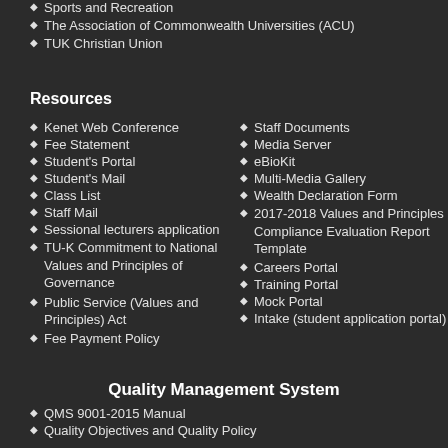Sports and Recreation
The Association of Commonwealth Universities (ACU)
TUK Christian Union
Resources
Kenet Web Conference
Fee Statement
Student's Portal
Student's Mail
Class List
Staff Mail
Sessional lecturers application
TU-K Commitment to National Values and Principles of Governance
Public Service (Values and Principles) Act
Fee Payment Policy
Staff Documents
Media Server
eBioKit
Multi-Media Gallery
Wealth Declaration Form
2017-2018 Values and Principles Compliance Evaluation Report Template
Careers Portal
Training Portal
Mock Portal
Intake (student application portal)
Quality Management System
QMS 9001-2015 Manual
Quality Objectives and Quality Policy